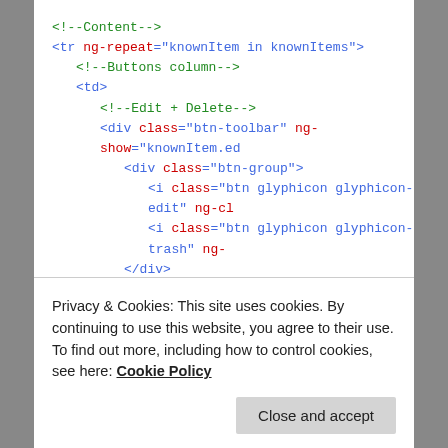[Figure (screenshot): Code snippet showing HTML template with Angular ng-repeat directive, table row, td element, Edit+Delete div toolbar with btn-toolbar and btn-group classes, glyphicon-edit and glyphicon-trash icon elements, closing divs, Save+Cancel comment, and another btn-toolbar div. Code uses syntax highlighting: green for comments, blue for tags, red for attributes.]
Privacy & Cookies: This site uses cookies. By continuing to use this website, you agree to their use.
To find out more, including how to control cookies, see here: Cookie Policy
Close and accept